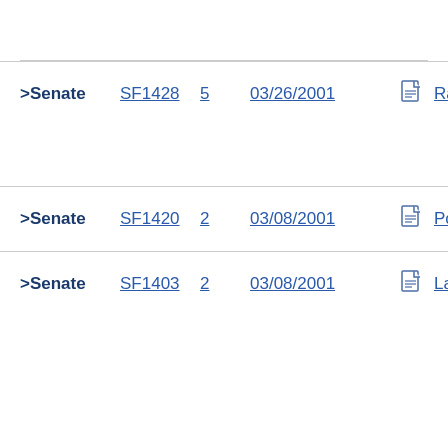| Chamber | Bill | Num | Date | Icon | Author |
| --- | --- | --- | --- | --- | --- |
| >Senate | SF1428 | 5 | 03/26/2001 | [doc] | Ranu |
| >Senate | SF1420 | 2 | 03/08/2001 | [doc] | Poge |
| >Senate | SF1403 | 2 | 03/08/2001 | [doc] | Lang |